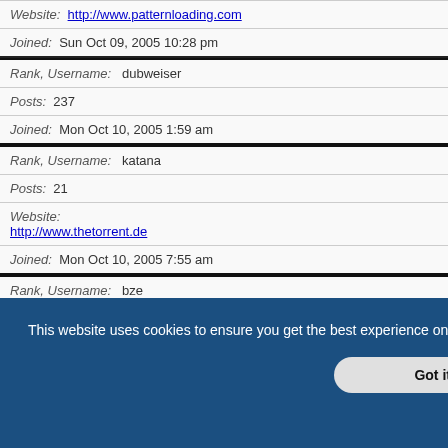| Website: | http://www.patternloading.com |
| Joined: | Sun Oct 09, 2005 10:28 pm |
| Rank, Username: | dubweiser |
| Posts: | 237 |
| Joined: | Mon Oct 10, 2005 1:59 am |
| Rank, Username: | katana |
| Posts: | 21 |
| Website: | http://www.thetorrent.de |
| Joined: | Mon Oct 10, 2005 7:55 am |
| Rank, Username: | bze |
| Posts: | 131 |
| Joined: | Mon Oct 10, 2005 9:23 am |
| Posts: | 56 |
This website uses cookies to ensure you get the best experience on our website. Learn more
Got it!